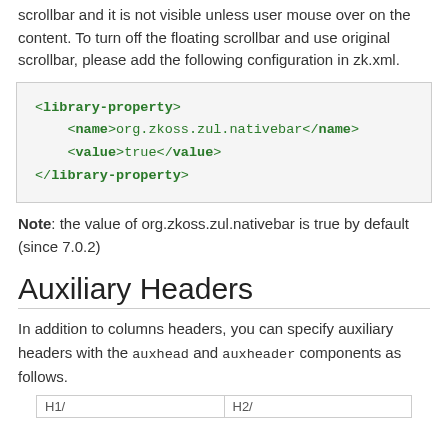scrollbar and it is not visible unless user mouse over on the content. To turn off the floating scrollbar and use original scrollbar, please add the following configuration in zk.xml.
<library-property>
    <name>org.zkoss.zul.nativebar</name>
    <value>true</value>
</library-property>
Note: the value of org.zkoss.zul.nativebar is true by default (since 7.0.2)
Auxiliary Headers
In addition to columns headers, you can specify auxiliary headers with the auxhead and auxheader components as follows.
| H1/ | H2/ |
| --- | --- |